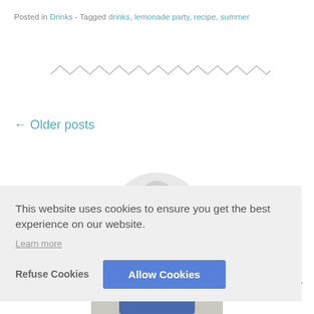Posted in Drinks - Tagged drinks, lemonade party, recipe, summer
[Figure (other): Zigzag decorative divider line]
← Older posts
[Figure (photo): Partial circular photo of a person, cropped at top]
This website uses cookies to ensure you get the best experience on our website.
Learn more
Refuse Cookies
Allow Cookies
[Figure (other): Scroll-to-top arrow chevron icon]
[Figure (photo): Partial photo of a person at the bottom of the page]